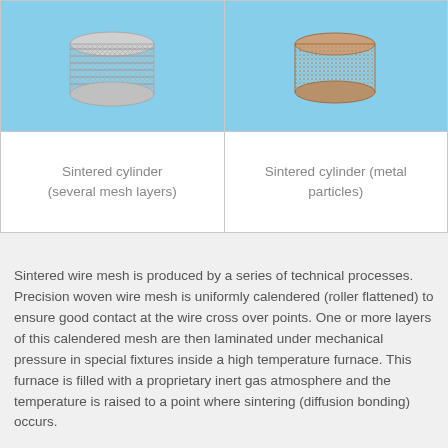[Figure (photo): Two sintered cylinder filter elements side by side on a blue background. Left: sintered cylinder made of several mesh layers (silver, ribbed texture). Right: sintered cylinder made of metal particles (tan/brown, granular texture).]
| Sintered cylinder
(several mesh layers) | Sintered cylinder (metal particles) |
Sintered wire mesh is produced by a series of technical processes. Precision woven wire mesh is uniformly calendered (roller flattened) to ensure good contact at the wire cross over points. One or more layers of this calendered mesh are then laminated under mechanical pressure in special fixtures inside a high temperature furnace. This furnace is filled with a proprietary inert gas atmosphere and the temperature is raised to a point where sintering (diffusion bonding) occurs.
After controlled cooling, the mesh has now become rigid